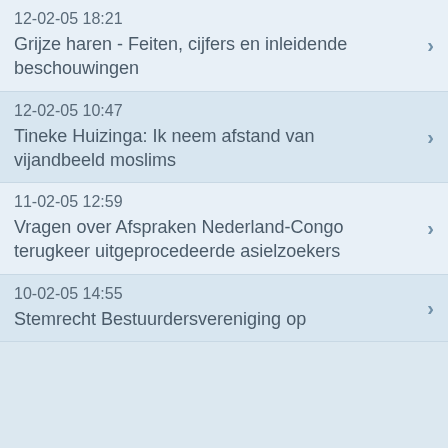12-02-05 18:21
Grijze haren - Feiten, cijfers en inleidende beschouwingen
12-02-05 10:47
Tineke Huizinga: Ik neem afstand van vijandbeeld moslims
11-02-05 12:59
Vragen over Afspraken Nederland-Congo terugkeer uitgeprocedeerde asielzoekers
10-02-05 14:55
Stemrecht Bestuurdersvereniging op